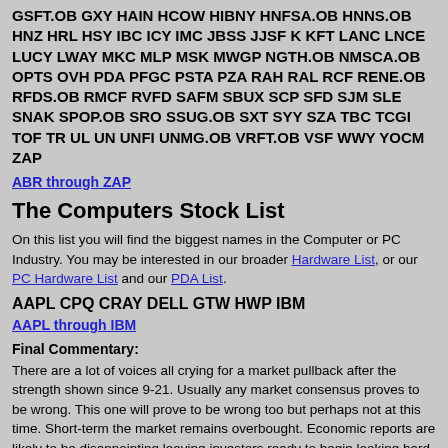GSFT.OB GXY HAIN HCOW HIBNY HNFSA.OB HNNS.OB HNZ HRL HSY IBC ICY IMC JBSS JJSF K KFT LANC LNCE LUCY LWAY MKC MLP MSK MWGP NGTH.OB NMSCA.OB OPTS OVH PDA PFGC PSTA PZA RAH RAL RCF RENE.OB RFDS.OB RMCF RVFD SAFM SBUX SCP SFD SJM SLE SNAK SPOP.OB SRO SSUG.OB SXT SYY SZA TBC TCGI TOF TR UL UN UNFI UNMG.OB VRFT.OB VSF WWY YOCM ZAP
ABR through ZAP
The Computers Stock List
On this list you will find the biggest names in the Computer or PC Industry. You may be interested in our broader Hardware List, or our PC Hardware List and our PDA List.
AAPL CPQ CRAY DELL GTW HWP IBM
AAPL through IBM
Final Commentary:
There are a lot of voices all crying for a market pullback after the strength shown since 9-21. Usually any market consensus proves to be wrong. This one will prove to be wrong too but perhaps not at this time. Short-term the market remains overbought. Economic reports are likely to be disappointing leaving investors ready to begin looking hard at the lofty valuations they have established on many of the